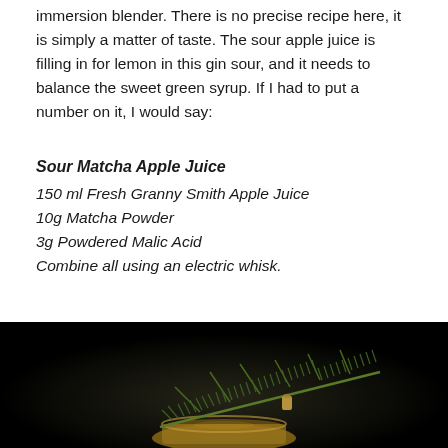immersion blender. There is no precise recipe here, it is simply a matter of taste. The sour apple juice is filling in for lemon in this gin sour, and it needs to balance the sweet green syrup. If I had to put a number on it, I would say:
Sour Matcha Apple Juice
150 ml Fresh Granny Smith Apple Juice
10g Matcha Powder
3g Powdered Malic Acid
Combine all using an electric whisk.
[Figure (photo): Dark background photo of a cocktail glass with a rosemary sprig garnish bundled with a small clip, dark moody lighting]